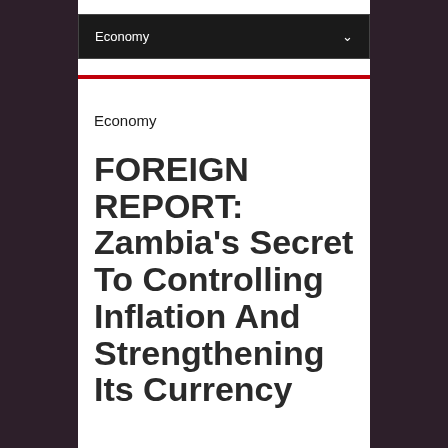Economy
Economy
FOREIGN REPORT: Zambia's Secret To Controlling Inflation And Strengthening Its Currency